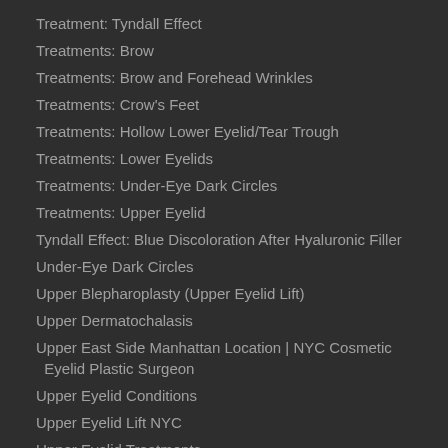Treatment: Tyndall Effect
Treatments: Brow
Treatments: Brow and Forehead Wrinkles
Treatments: Crow's Feet
Treatments: Hollow Lower Eyelid/Tear Trough
Treatments: Lower Eyelids
Treatments: Under-Eye Dark Circles
Treatments: Upper Eyelid
Tyndall Effect: Blue Discoloration After Hyaluronic Filler
Under-Eye Dark Circles
Upper Blepharoplasty (Upper Eyelid Lift)
Upper Dermatochalasis
Upper East Side Manhattan Location | NYC Cosmetic Eyelid Plastic Surgeon
Upper Eyelid Conditions
Upper Eyelid Lift NYC
Upper Eyelid Treatments